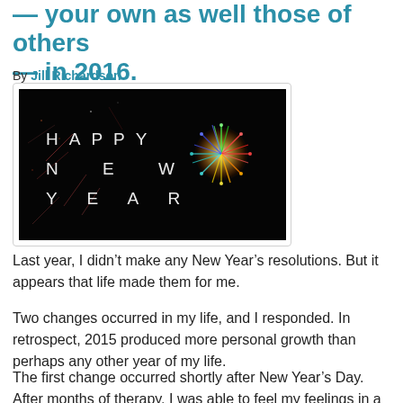— your own as well those of others — in 2016.
By Jill Richardson
[Figure (photo): A dark fireworks image with text 'HAPPY NEW YEAR' in white spaced letters on a black background, with a colorful firework burst on the right side.]
Last year, I didn't make any New Year's resolutions. But it appears that life made them for me.
Two changes occurred in my life, and I responded. In retrospect, 2015 produced more personal growth than perhaps any other year of my life.
The first change occurred shortly after New Year's Day. After months of therapy, I was able to feel my feelings in a more intense, genuine way than ever before.